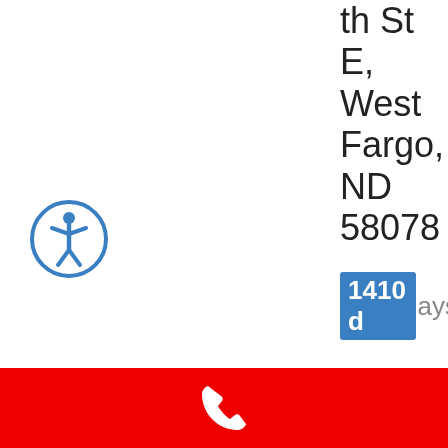[Figure (logo): Accessibility/wheelchair icon in blue circle]
th St E, West Fargo, ND 58078
1410 days
[Figure (illustration): Person/agent silhouette icon]
Tyler
[Figure (other): Red bottom bar with white phone icon]